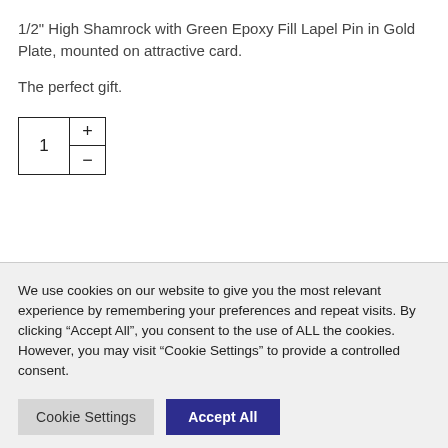1/2" High Shamrock with Green Epoxy Fill Lapel Pin in Gold Plate, mounted on attractive card.
The perfect gift.
[Figure (other): Quantity selector widget showing value 1 with plus and minus buttons]
We use cookies on our website to give you the most relevant experience by remembering your preferences and repeat visits. By clicking “Accept All”, you consent to the use of ALL the cookies. However, you may visit "Cookie Settings" to provide a controlled consent.
Cookie Settings | Accept All